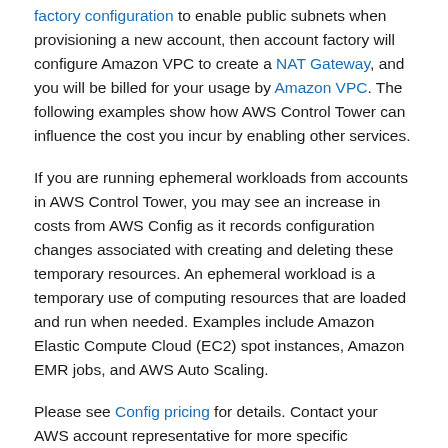factory configuration to enable public subnets when provisioning a new account, then account factory will configure Amazon VPC to create a NAT Gateway, and you will be billed for your usage by Amazon VPC. The following examples show how AWS Control Tower can influence the cost you incur by enabling other services.
If you are running ephemeral workloads from accounts in AWS Control Tower, you may see an increase in costs from AWS Config as it records configuration changes associated with creating and deleting these temporary resources. An ephemeral workload is a temporary use of computing resources that are loaded and run when needed. Examples include Amazon Elastic Compute Cloud (EC2) spot instances, Amazon EMR jobs, and AWS Auto Scaling.
Please see Config pricing for details. Contact your AWS account representative for more specific information about managing these costs.